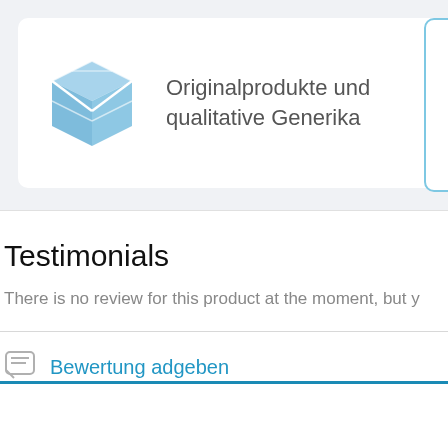[Figure (illustration): Blue box/package icon illustration representing original products]
Originalprodukte und qualitative Generika
Testimonials
There is no review for this product at the moment, but y
Bewertung adgeben